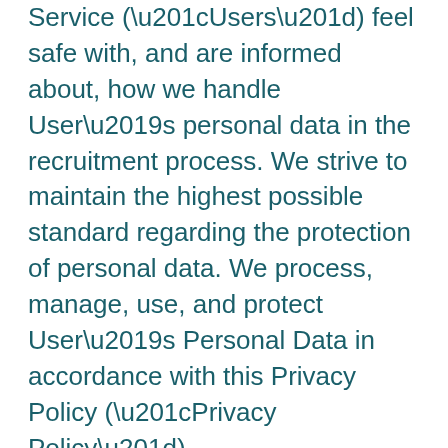Service (“Users”) feel safe with, and are informed about, how we handle User’s personal data in the recruitment process. We strive to maintain the highest possible standard regarding the protection of personal data. We process, manage, use, and protect User’s Personal Data in accordance with this Privacy Policy (“Privacy Policy”).
1. General
We are the controller in accordance with current privacy legislations. The Users’